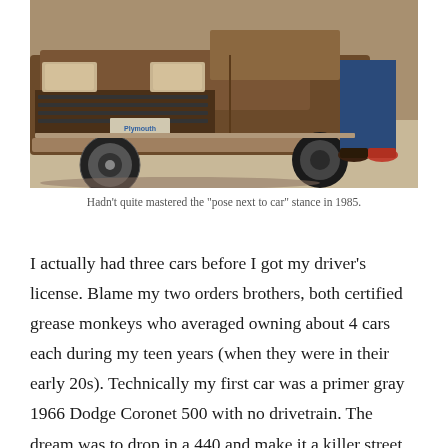[Figure (photo): A vintage brown/tan Plymouth muscle car from the front-left angle, with a person standing beside it (only jeans and sneakers visible at right edge). Photo taken in 1985, outdoor concrete setting.]
Hadn't quite mastered the “pose next to car” stance in 1985.
I actually had three cars before I got my driver’s license. Blame my two orders brothers, both certified grease monkeys who averaged owning about 4 cars each during my teen years (when they were in their early 20s). Technically my first car was a primer gray 1966 Dodge Coronet 500 with no drivetrain. The dream was to drop in a 440 and make it a killer street car. Then I found an all-original B5 blue 1968 Dodge Charger R/T